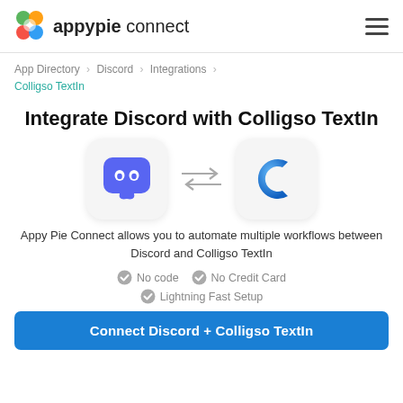appypie connect
App Directory > Discord > Integrations > Colligso TextIn
Integrate Discord with Colligso TextIn
[Figure (illustration): Discord app icon (purple speech bubble with eyes) and Colligso TextIn icon (blue letter C) connected by bidirectional arrows]
Appy Pie Connect allows you to automate multiple workflows between Discord and Colligso TextIn
No code   No Credit Card   Lightning Fast Setup
Connect Discord + Colligso TextIn